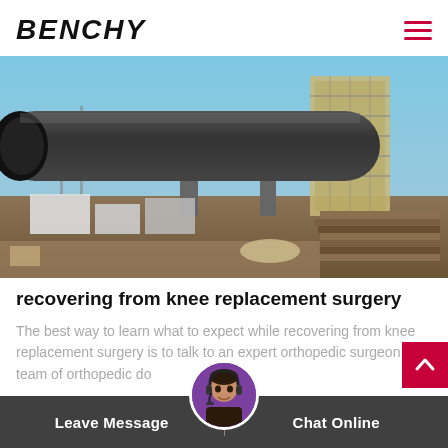BENCHY
[Figure (photo): Industrial site photo showing a large cylindrical metal pipe/kiln on an elevated structure, with construction equipment and a steel tower in the background, and construction materials/debris in the foreground. Blue sky visible.]
recovering from knee replacement surgery
The best way to learn what to expect while recovering from knee replacement surgery is to talk to an expert orthopedic surgeon or team of orthopedic doctors
Leave Message   Chat Online